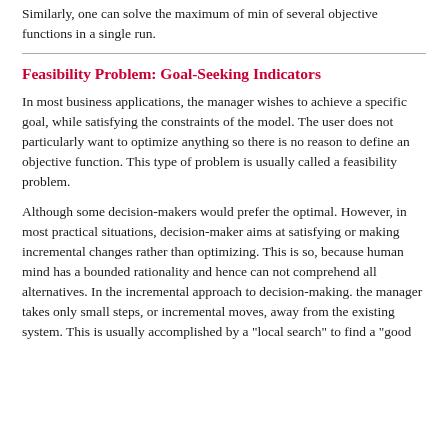Similarly, one can solve the maximum of min of several objective functions in a single run.
Feasibility Problem: Goal-Seeking Indicators
In most business applications, the manager wishes to achieve a specific goal, while satisfying the constraints of the model. The user does not particularly want to optimize anything so there is no reason to define an objective function. This type of problem is usually called a feasibility problem.
Although some decision-makers would prefer the optimal. However, in most practical situations, decision-maker aims at satisfying or making incremental changes rather than optimizing. This is so, because human mind has a bounded rationality and hence can not comprehend all alternatives. In the incremental approach to decision-making. the manager takes only small steps, or incremental moves, away from the existing system. This is usually accomplished by a "local search" to find a "good